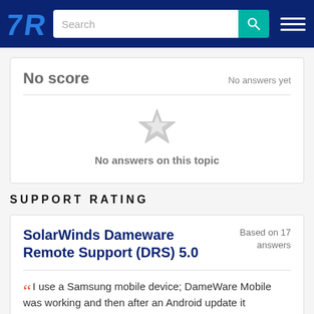TrustRadius – Search bar and navigation
No score — No answers yet
[Figure (illustration): Greyed-out star icon indicating no rating]
No answers on this topic
SUPPORT RATING
SolarWinds Dameware Remote Support (DRS) 5.0
Based on 17 answers
I use a Samsung mobile device; DameWare Mobile was working and then after an Android update it